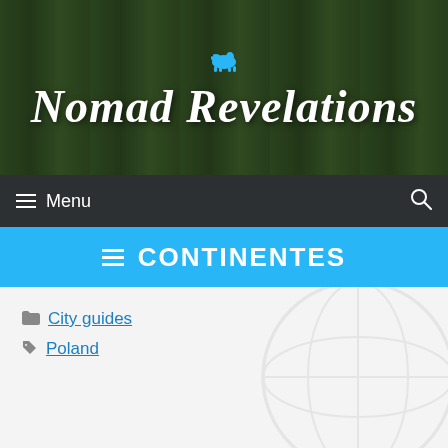[Figure (logo): Nomad Revelations website header with forest background and camel logo icon, white cursive text reading 'Nomad Revelations']
≡ Menu
≡ CONTINENTES
📁 City guides
🏷 Poland
[Figure (infographic): Banner advertisement for Nomad Revelations group tours. Text: JOIN OUR GROUP TOURS, MORE INFO, EXPEDITIONS BY JOÃO LEITÃO AND R1 TRAVEL TOUR OPERATOR. Shows 4 tour destinations: Iran 11 DAYS 975€, Iraq 10 DAYS 1700€, Morocco 7 DAYS 430€, Syria 7 DAYS 950€]